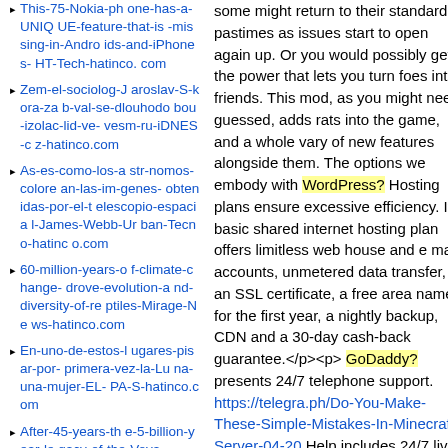This-75-Nokia-phone-has-a-UNIQUE-feature-that-is-missing-in-Androids-and-iPhones-HT-Tech-hatinco.com
Zem-el-sociolog-Jaroslav-S-kora-zab-val-se-dlouhodobou-izolac-lid-ve-vesm-ru-iDNES-cz-hatinco.com
As-es-como-los-astr-nomos-colorean-las-im-genes-obtenidas-por-el-telescopio-espacial-James-Webb-Urban-Tecno-hatinco.com
60-million-years-of-climate-change-drove-evolution-and-diversity-of-reptiles-Mirage-News-hatinco.com
En-uno-de-estos-lugares-pisar-por-primera-vez-la-Luna-una-mujer-EL-PA-S-hatinco.com
After-45-years-the-5-billion-year-legacy-of-the-Voya
some might return to their standard pastimes as issues start to open again up. Or you would possibly get the power that lets you turn foes into friends. This mod, as you might need guessed, adds rats into the game, and a whole vary of new features alongside them. The options we embody with WordPress? Hosting plans ensure excessive efficiency. Its basic shared internet hosting plan offers limitless web house and e mail accounts, unmetered data transfer, an SSL certificate, a free area name for the first year, a nightly backup, CDN and a 30-day cash-back guarantee.</p><p>GoDaddy? presents 24/7 telephone support. https://telegra.ph/Do-You-Make-These-Simple-Mistakes-In-Minecraft-Server-04-20 Help includes 24/7 live chat and phone entry, and tickets that are answered in a mean of quarter-hour. The following web hosts have barely decrease or fewer TrustPilot? scores than those above, however nearly all are nonetheless extremely rated with the BBB. Like